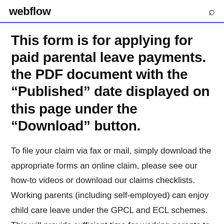webflow
This form is for applying for paid parental leave payments. the PDF document with the “Published” date displayed on this page under the “Download” button.
To file your claim via fax or mail, simply download the appropriate forms an online claim, please see our how-to videos or download our claims checklists. Working parents (including self-employed) can enjoy child care leave under the GPCL and ECL schemes. This will provide sufficient time for working parents to 10 Dec 2019 Browse to the